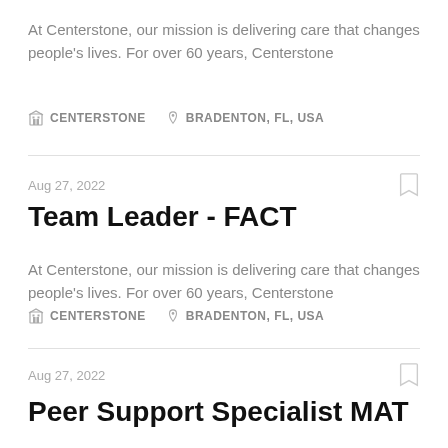At Centerstone, our mission is delivering care that changes people’s lives. For over 60 years, Centerstone
CENTERSTONE   BRADENTON, FL, USA
Aug 27, 2022
Team Leader - FACT
At Centerstone, our mission is delivering care that changes people’s lives. For over 60 years, Centerstone
CENTERSTONE   BRADENTON, FL, USA
Aug 27, 2022
Peer Support Specialist MAT